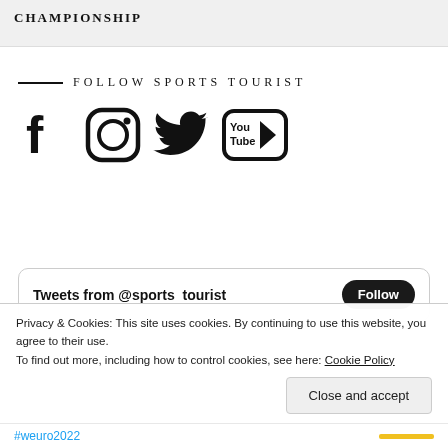CHAMPIONSHIP
FOLLOW SPORTS TOURIST
[Figure (illustration): Social media icons: Facebook, Instagram, Twitter, YouTube]
Tweets from @sports tourist
Follow
Privacy & Cookies: This site uses cookies. By continuing to use this website, you agree to their use. To find out more, including how to control cookies, see here: Cookie Policy
Close and accept
#weuro2022